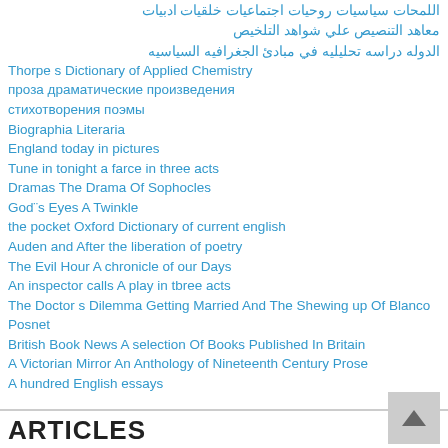اللمحات سياسيات روحيات اجتماعيات خلقيات ادبيات
معاهد التنصيص علي شواهد التلخيص
الدوله دراسه تحليليه في مبادئ الجغرافيه السياسيه
Thorpe s Dictionary of Applied Chemistry
проза драматические произведения
стихотворения поэмы
Biographia Literaria
England today in pictures
Tune in tonight a farce in three acts
Dramas The Drama Of Sophocles
God¨s Eyes A Twinkle
the pocket Oxford Dictionary of current english
Auden and After the liberation of poetry
The Evil Hour A chronicle of our Days
An inspector calls A play in tbree acts
The Doctor s Dilemma Getting Married And The Shewing up Of Blanco Posnet
British Book News A selection Of Books Published In Britain
A Victorian Mirror An Anthology of Nineteenth Century Prose
A hundred English essays
ARTICLES